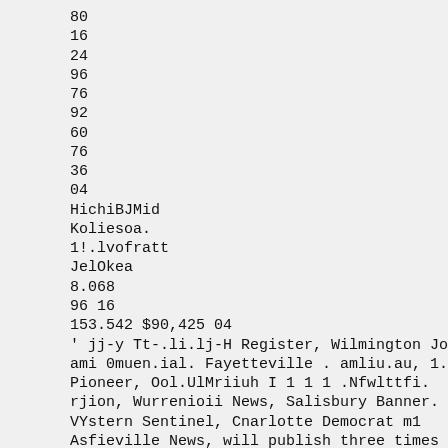80
16
24
96
76
92
60
76
36
04
HichiBJMid
Koliesoa.
1!.lvofratt
JelOkea
8.068
96 16
153.542 $90,425 04
' jj-y Tt-.li.lj-H Register, Wilmington Journi
ami 0muen.ial. Fayetteville . amliu.au, 1.-uic
Pioneer, Ool.UlMriiuh I 1 1 1 .Nfwlttfi.
rjion, Wurrenioii News, Salisbury Banner.
VYstern Sentinel, Cnarlotte Democrat m1
Asfieville News, will publish three times week
nitf forward to this oftVe. Rate adopted Ly